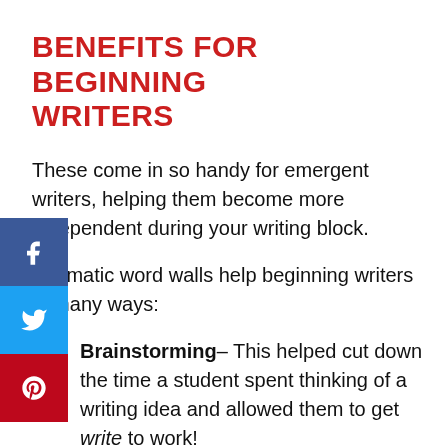BENEFITS FOR BEGINNING WRITERS
These come in so handy for emergent writers, helping them become more independent during your writing block.
Thematic word walls help beginning writers in many ways:
Brainstorming– This helped cut down the time a student spent thinking of a writing idea and allowed them to get write to work!